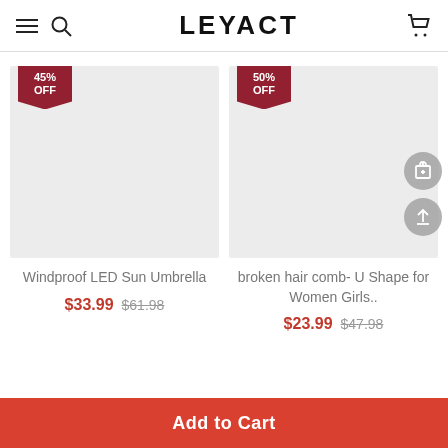LEYACT
[Figure (screenshot): Product image placeholder for Windproof LED Sun Umbrella with 45% OFF badge]
Windproof LED Sun Umbrella
$33.99  $61.98
[Figure (screenshot): Product image placeholder for broken hair comb U Shape for Women Girls with 50% OFF badge and action buttons]
broken hair comb- U Shape for Women Girls..
$23.99  $47.98
Add to Cart